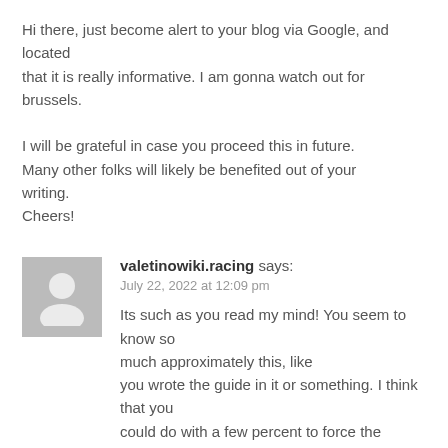Hi there, just become alert to your blog via Google, and located that it is really informative. I am gonna watch out for brussels.

I will be grateful in case you proceed this in future. Many other folks will likely be benefited out of your writing.
Cheers!
[Figure (illustration): Grey avatar placeholder showing a person silhouette icon]
valetinowiki.racing says:
July 22, 2022 at 12:09 pm
Its such as you read my mind! You seem to know so much approximately this, like you wrote the guide in it or something. I think that you could do with a few percent to force the message home a bit, however instead of that, that is fantastic blog.
A fantastic read. I will certainly be back.